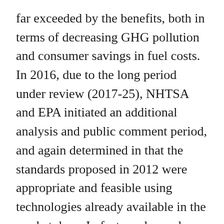far exceeded by the benefits, both in terms of decreasing GHG pollution and consumer savings in fuel costs. In 2016, due to the long period under review (2017-25), NHTSA and EPA initiated an additional analysis and public comment period, and again determined in that the standards proposed in 2012 were appropriate and feasible using technologies already available in the marketplace. In fact, analyses show that these aggressive targets could reduce CO2 emissions from 180g/km in 2012 to 93g/km by 2025.
A 2015 NAS report (Cost, Effectiveness and Deployment of Fuel Economy Technologies for